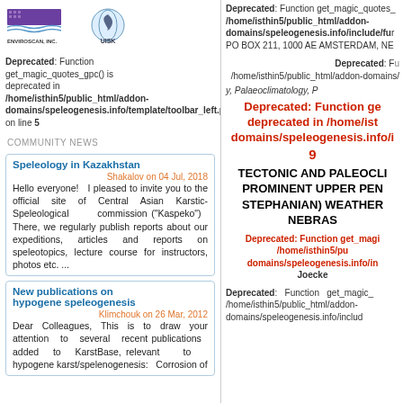[Figure (logo): Enviroscan Inc. logo and UISK logo side by side]
Deprecated: Function get_magic_quotes_gpc() is deprecated in /home/isthin5/public_html/addon-domains/speleogenesis.info/template/toolbar_left.php on line 5
Deprecated: Function get_magic_quotes_gpc() is deprecated in /home/isthin5/public_html/addon-domains/speleogenesis.info/include/fu... PO BOX 211, 1000 AE AMSTERDAM, NE
Deprecated: F... /home/isthin5/public_html/addon-domains/...
...y, Palaeoclimatology, P...
COMMUNITY NEWS
Speleology in Kazakhstan
Shakalov on 04 Jul, 2018
Hello everyone! I pleased to invite you to the official site of Central Asian Karstic-Speleological commission ("Kaspeko") There, we regularly publish reports about our expeditions, articles and reports on speleotopics, lecture course for instructors, photos etc. ...
New publications on hypogene speleogenesis
Klimchouk on 26 Mar, 2012
Dear Colleagues, This is to draw your attention to several recent publications added to KarstBase, relevant to hypogene karst/spelenogenesis: Corrosion of
Deprecated: Function ge... deprecated in /home/ist... domains/speleogenesis.info/i... 9...
TECTONIC AND PALEOCLI... PROMINENT UPPER PEN... STEPHANIAN) WEATHER... NEBRAS...
Deprecated: Function get_magi... /home/listhin5/pu... domains/speleogenesis.info/in... Joecke...
Deprecated: Function get_magic... /home/isthin5/public_html/addon-domains/speleogenesis.info/includ...